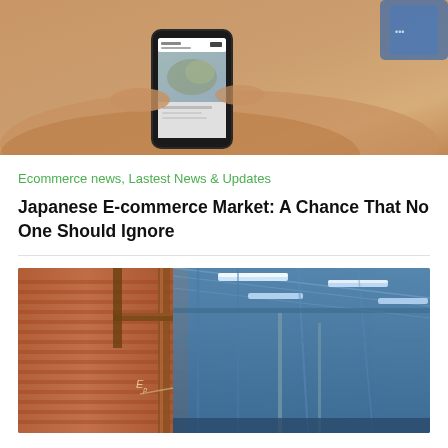[Figure (photo): Close-up photo of a hand holding a smartphone, viewed from above on a warm-toned background]
Ecommerce news, Lastest News & Updates
Japanese E-commerce Market: A Chance That No One Should Ignore
[Figure (photo): Interior photo of an industrial warehouse or data center with blue steel structures, orange pipes, and fluorescent ceiling lights]